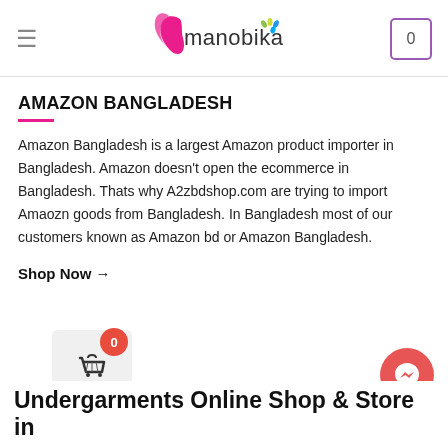manobika
AMAZON BANGLADESH
Amazon Bangladesh is a largest Amazon product importer in Bangladesh. Amazon doesn't open the ecommerce in Bangladesh. Thats why A2zbdshop.com are trying to import Amaozn goods from Bangladesh. In Bangladesh most of our customers known as Amazon bd or Amazon Bangladesh.
Shop Now →
[Figure (screenshot): Shopping cart widget with badge showing 0]
[Figure (illustration): Messenger chat bubble icon (red circle with lightning bolt)]
Undergarments Online Shop & Store in